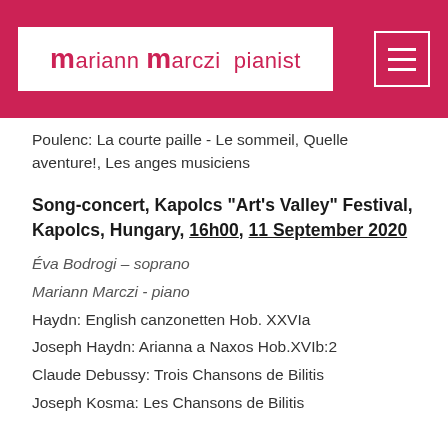mariann marczi pianist
Poulenc: La courte paille - Le sommeil, Quelle aventure!, Les anges musiciens
Song-concert, Kapolcs "Art's Valley" Festival, Kapolcs, Hungary, 16h00, 11 September 2020
Éva Bodrogi – soprano
Mariann Marczi - piano
Haydn: English canzonetten Hob. XXVIa
Joseph Haydn: Arianna a Naxos Hob.XVIb:2
Claude Debussy: Trois Chansons de Bilitis
Joseph Kosma: Les Chansons de Bilitis